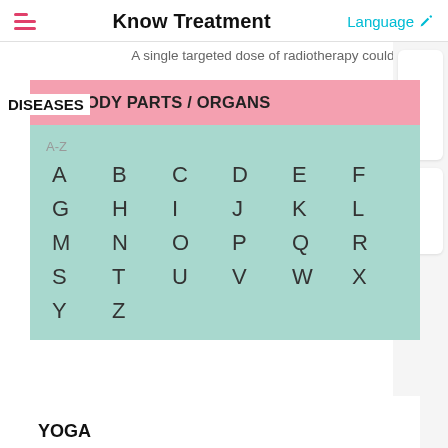Know Treatment | Language
A single targeted dose of radiotherapy could be as effective at treating breast cancer as a full course, a long-term
DISEASES
BY BODY PARTS / ORGANS
A-Z
A
B
C
D
E
F
G
H
I
J
K
L
M
N
O
P
Q
R
S
T
U
V
W
X
Y
Z
YOGA